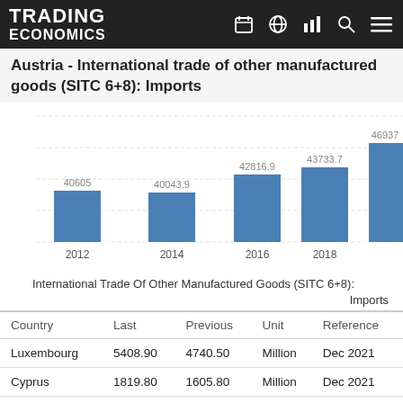TRADING ECONOMICS
Austria - International trade of other manufactured goods (SITC 6+8): Imports
[Figure (bar-chart): Austria - International trade of other manufactured goods (SITC 6+8): Imports]
International Trade Of Other Manufactured Goods (SITC 6+8): Imports
| Country | Last | Previous | Unit | Reference |
| --- | --- | --- | --- | --- |
| Luxembourg | 5408.90 | 4740.50 | Million | Dec 2021 |
| Cyprus | 1819.80 | 1605.80 | Million | Dec 2021 |
| Malta | 963.90 | 873.20 | Million | Dec 2021 |